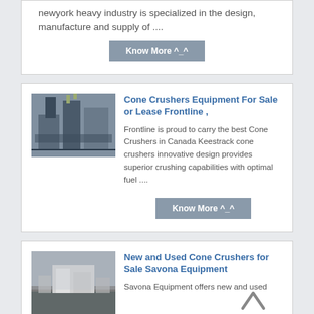newyork heavy industry is specialized in the design, manufacture and supply of ....
Know More ^_^
Cone Crushers Equipment For Sale or Lease Frontline ,
[Figure (photo): Industrial cone crusher machinery equipment photo]
Frontline is proud to carry the best Cone Crushers in Canada Keestrack cone crushers innovative design provides superior crushing capabilities with optimal fuel ....
Know More ^_^
New and Used Cone Crushers for Sale Savona Equipment
[Figure (photo): Outdoor equipment yard photo for Savona Equipment]
Savona Equipment offers new and used